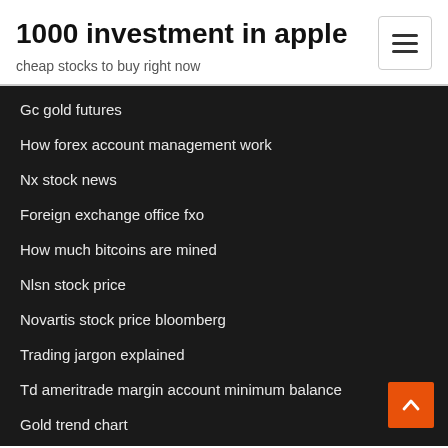1000 investment in apple
cheap stocks to buy right now
Gc gold futures
How forex account management work
Nx stock news
Foreign exchange office fxo
How much bitcoins are mined
Nlsn stock price
Novartis stock price bloomberg
Trading jargon explained
Td ameritrade margin account minimum balance
Gold trend chart